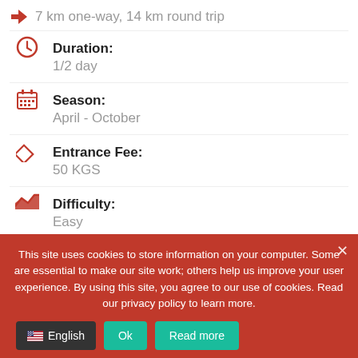7 km one-way, 14 km round trip
Duration: 1/2 day
Season: April - October
Entrance Fee: 50 KGS
Difficulty: Easy
This site uses cookies to store information on your computer. Some are essential to make our site work; others help us improve your user experience. By using this site, you agree to our use of cookies. Read our privacy policy to learn more.